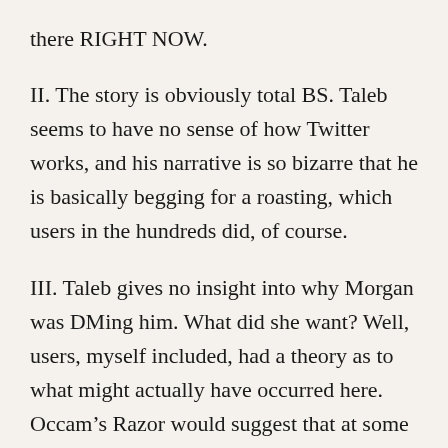there RIGHT NOW.
II. The story is obviously total BS. Taleb seems to have no sense of how Twitter works, and his narrative is so bizarre that he is basically begging for a roasting, which users in the hundreds did, of course.
III. Taleb gives no insight into why Morgan was DMing him. What did she want? Well, users, myself included, had a theory as to what might actually have occurred here. Occam's Razor would suggest that at some point Morgan and Taleb began exchanging DMs, possibly on her initiative, as she